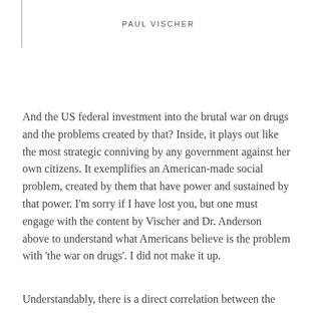PAUL VISCHER
And the US federal investment into the brutal war on drugs and the problems created by that? Inside, it plays out like the most strategic conniving by any government against her own citizens. It exemplifies an American-made social problem, created by them that have power and sustained by that power. I’m sorry if I have lost you, but one must engage with the content by Vischer and Dr. Anderson above to understand what Americans believe is the problem with ‘the war on drugs’. I did not make it up.
Understandably, there is a direct correlation between the